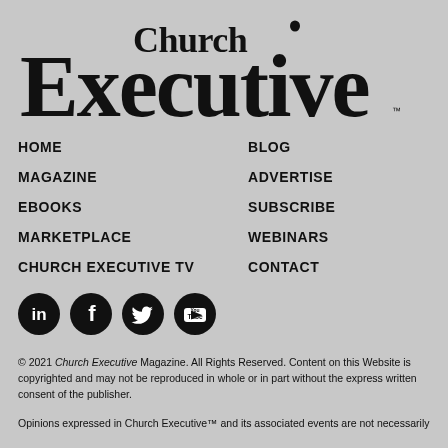[Figure (logo): Church Executive magazine logo in large black serif/display font]
HOME
BLOG
MAGAZINE
ADVERTISE
EBOOKS
SUBSCRIBE
MARKETPLACE
WEBINARS
CHURCH EXECUTIVE TV
CONTACT
[Figure (illustration): Row of four social media icons: LinkedIn, Facebook, Twitter, YouTube — white icons on black circular backgrounds]
© 2021 Church Executive Magazine. All Rights Reserved. Content on this Website is copyrighted and may not be reproduced in whole or in part without the express written consent of the publisher.
Opinions expressed in Church Executive™ and its associated events are not necessarily